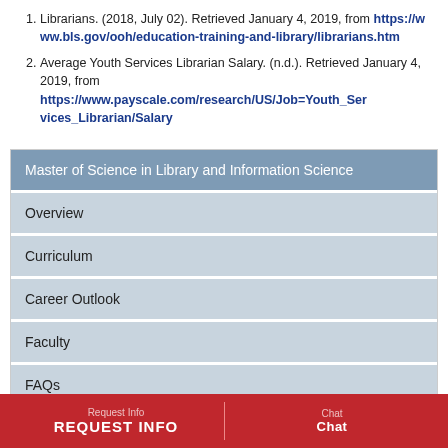Librarians. (2018, July 02). Retrieved January 4, 2019, from https://www.bls.gov/ooh/education-training-and-library/librarians.htm
Average Youth Services Librarian Salary. (n.d.). Retrieved January 4, 2019, from https://www.payscale.com/research/US/Job=Youth_Services_Librarian/Salary
Master of Science in Library and Information Science
Overview
Curriculum
Career Outlook
Faculty
FAQs
REQUEST INFO | Chat